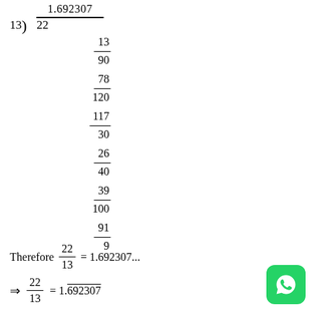Therefore 22/13 = 1.692307...
[Figure (logo): WhatsApp green logo icon]